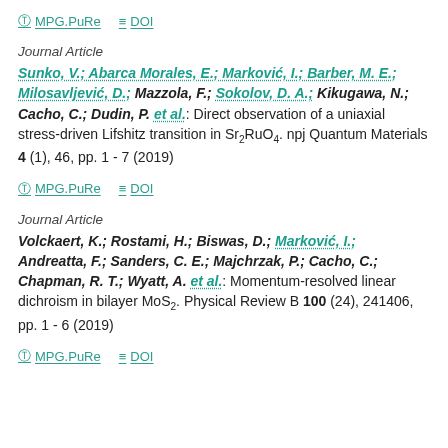MPG.PuRe   DOI
Journal Article
Sunko, V.; Abarca Morales, E.; Marković, I.; Barber, M. E.; Milosavljević, D.; Mazzola, F.; Sokolov, D. A.; Kikugawa, N.; Cacho, C.; Dudin, P. et al.: Direct observation of a uniaxial stress-driven Lifshitz transition in Sr2RuO4. npj Quantum Materials 4 (1), 46, pp. 1 - 7 (2019)
MPG.PuRe   DOI
Journal Article
Volckaert, K.; Rostami, H.; Biswas, D.; Marković, I.; Andreatta, F.; Sanders, C. E.; Majchrzak, P.; Cacho, C.; Chapman, R. T.; Wyatt, A. et al.: Momentum-resolved linear dichroism in bilayer MoS2. Physical Review B 100 (24), 241406, pp. 1 - 6 (2019)
MPG.PuRe   DOI